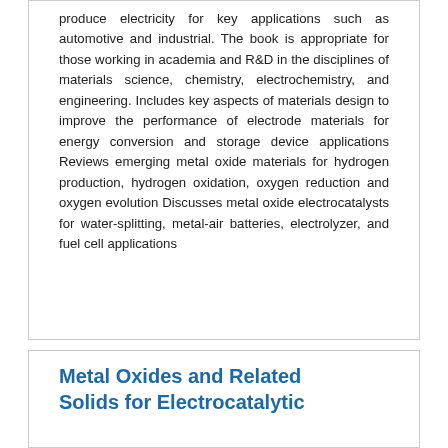produce electricity for key applications such as automotive and industrial. The book is appropriate for those working in academia and R&D in the disciplines of materials science, chemistry, electrochemistry, and engineering. Includes key aspects of materials design to improve the performance of electrode materials for energy conversion and storage device applications Reviews emerging metal oxide materials for hydrogen production, hydrogen oxidation, oxygen reduction and oxygen evolution Discusses metal oxide electrocatalysts for water-splitting, metal-air batteries, electrolyzer, and fuel cell applications
Metal Oxides and Related Solids for Electrocatalytic